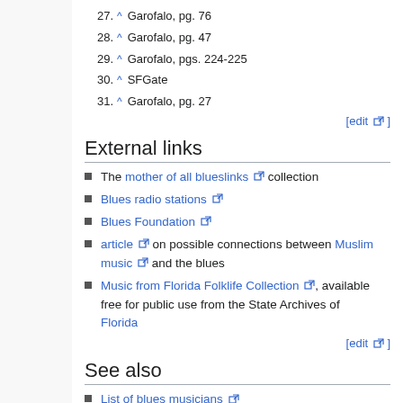27. ^ Garofalo, pg. 76
28. ^ Garofalo, pg. 47
29. ^ Garofalo, pgs. 224-225
30. ^ SFGate
31. ^ Garofalo, pg. 27
External links
The mother of all blueslinks collection
Blues radio stations
Blues Foundation
article on possible connections between Muslim music and the blues
Music from Florida Folklife Collection, available free for public use from the State Archives of Florida
See also
List of blues musicians
List of British blues musicians
Categories: American styles of music | Blues | Radio formats